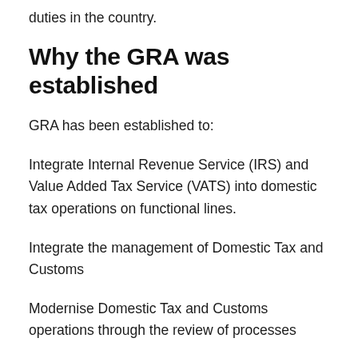duties in the country.
Why the GRA was established
GRA has been established to:
Integrate Internal Revenue Service (IRS) and Value Added Tax Service (VATS) into domestic tax operations on functional lines.
Integrate the management of Domestic Tax and Customs
Modernise Domestic Tax and Customs operations through the review of processes